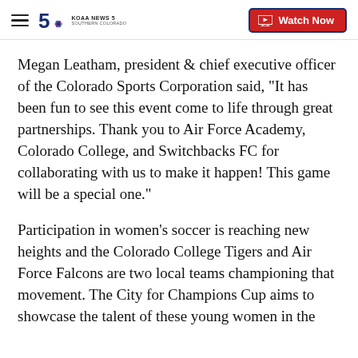KOAA NEWS5 SOUTHERN COLORADO | Watch Now
Megan Leatham, president & chief executive officer of the Colorado Sports Corporation said, "It has been fun to see this event come to life through great partnerships. Thank you to Air Force Academy, Colorado College, and Switchbacks FC for collaborating with us to make it happen! This game will be a special one."
Participation in women's soccer is reaching new heights and the Colorado College Tigers and Air Force Falcons are two local teams championing that movement. The City for Champions Cup aims to showcase the talent of these young women in the